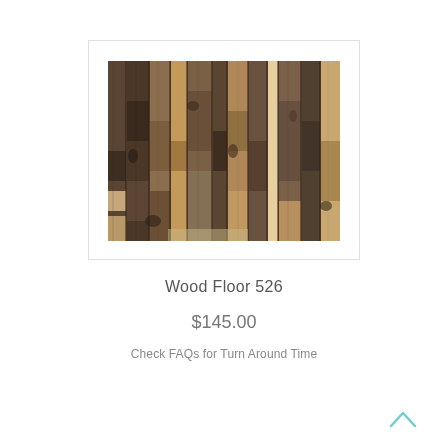[Figure (photo): Close-up photograph of reclaimed wood flooring panels in varying shades of brown, tan, and grey, arranged vertically with natural wood grain and knot textures visible.]
Wood Floor 526
$145.00
Check FAQs for Turn Around Time